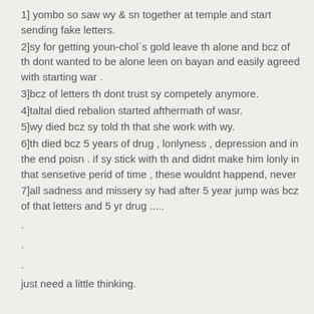1] yombo so saw wy & sn together at temple and start sending fake letters.
2]sy for getting youn-chol`s gold leave th alone and bcz of th dont wanted to be alone leen on bayan and easily agreed with starting war .
3]bcz of letters th dont trust sy competely anymore.
4]taltal died rebalion started afthermath of wasr.
5]wy died bcz sy told th that she work with wy.
6]th died bcz 5 years of drug , lonlyness , depression and in the end poisn . if sy stick with th and didnt make him lonly in that sensetive perid of time , these wouldnt happend, never
7]all sadness and missery sy had after 5 year jump was bcz of that letters and 5 yr drug .....
.
.
.
just need a little thinking.